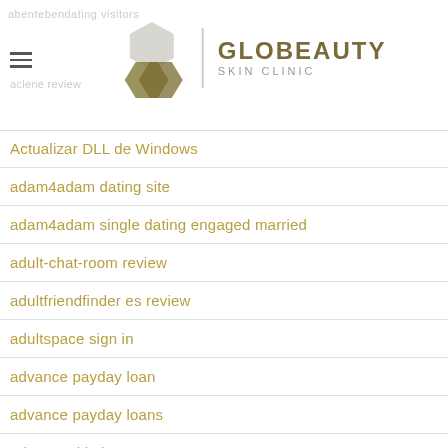GLOBEAUTY SKIN CLINIC
Actualizar DLL de Windows
adam4adam dating site
adam4adam single dating engaged married
adult-chat-room review
adultfriendfinder es review
adultspace sign in
advance payday loan
advance payday loans
advance title loan
adventist singles dating
adventist singles visitors